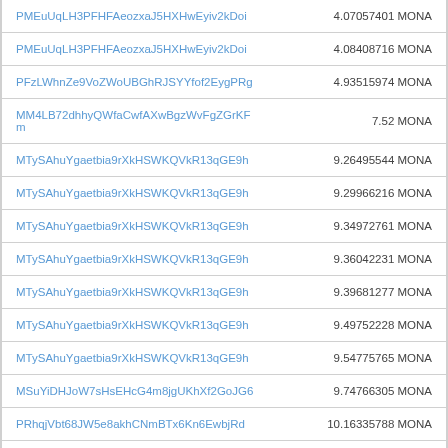| Address | Amount |
| --- | --- |
| PMEuUqLH3PFHFAeozxaJ5HXHwEyiv2kDoi | 4.07057401 MONA |
| PMEuUqLH3PFHFAeozxaJ5HXHwEyiv2kDoi | 4.08408716 MONA |
| PFzLWhnZe9VoZWoUBGhRJSYYfof2EygPRg | 4.93515974 MONA |
| MM4LB72dhhyQWfaCwfAXwBgzWvFgZGrKFm | 7.52 MONA |
| MTySAhuYgaetbia9rXkHSWKQVkR13qGE9h | 9.26495544 MONA |
| MTySAhuYgaetbia9rXkHSWKQVkR13qGE9h | 9.29966216 MONA |
| MTySAhuYgaetbia9rXkHSWKQVkR13qGE9h | 9.34972761 MONA |
| MTySAhuYgaetbia9rXkHSWKQVkR13qGE9h | 9.36042231 MONA |
| MTySAhuYgaetbia9rXkHSWKQVkR13qGE9h | 9.39681277 MONA |
| MTySAhuYgaetbia9rXkHSWKQVkR13qGE9h | 9.49752228 MONA |
| MTySAhuYgaetbia9rXkHSWKQVkR13qGE9h | 9.54775765 MONA |
| MSuYiDHJoW7sHsEHcG4m8jgUKhXf2GoJG6 | 9.74766305 MONA |
| PRhqjVbt68JW5e8akhCNmBTx6Kn6EwbjRd | 10.16335788 MONA |
| PGH58j1W9USBDtutxhKXSiWLJ5nz6QFmzx | 10.27495958 MONA |
| MM4LB72dhhyQWfaCwfAXwBgzWvFgZGrKFm | 10.36 MONA |